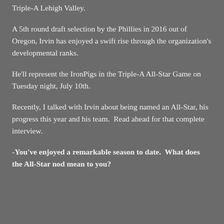Triple-A Lehigh Valley.
A 5th round draft selection by the Phillies in 2016 out of Oregon, Irvin has enjoyed a swift rise through the organization's developmental ranks.
He'll represent the IronPigs in the Triple-A All-Star Game on Tuesday night, July 10th.
Recently, I talked with Irvin about being named an All-Star, his progress this year and his team.  Read ahead for that complete interview.
-You've enjoyed a remarkable season to date.  What does the All-Star nod mean to you?